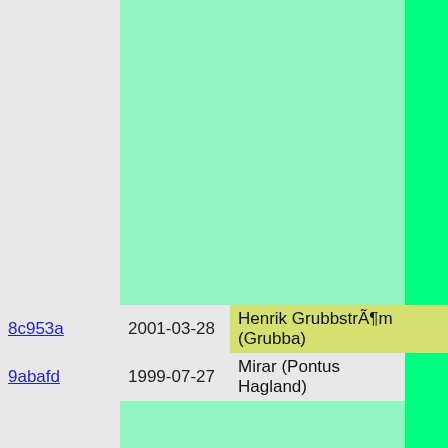| ID | Date | Author |  |
| --- | --- | --- | --- |
| 8c953a | 2001-03-28 | Henrik GrubbstrÃ¶m (Grubba) |  |
| 9abafd | 1999-07-27 | Mirar (Pontus Hagland) |  |